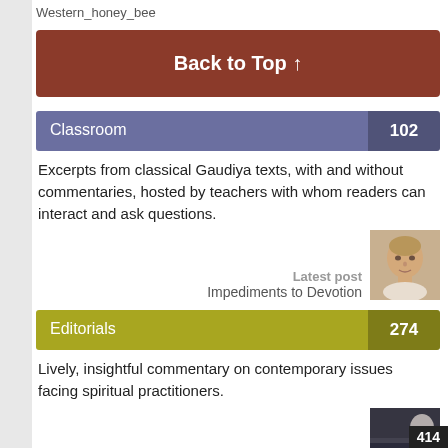Western_honey_bee
Back to Top ↑
Classroom 102
Excerpts from classical Gaudiya texts, with and without commentaries, hosted by teachers with whom readers can interact and ask questions.
Latest post
Impediments to Devotion
Editorials 274
Lively, insightful commentary on contemporary issues facing spiritual practitioners.
Latest post
Sincerity in Solitude
414